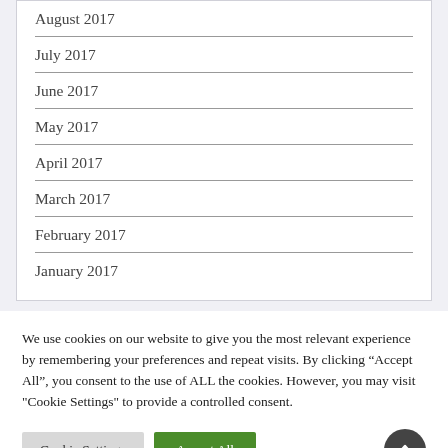August 2017
July 2017
June 2017
May 2017
April 2017
March 2017
February 2017
January 2017
We use cookies on our website to give you the most relevant experience by remembering your preferences and repeat visits. By clicking “Accept All”, you consent to the use of ALL the cookies. However, you may visit "Cookie Settings" to provide a controlled consent.